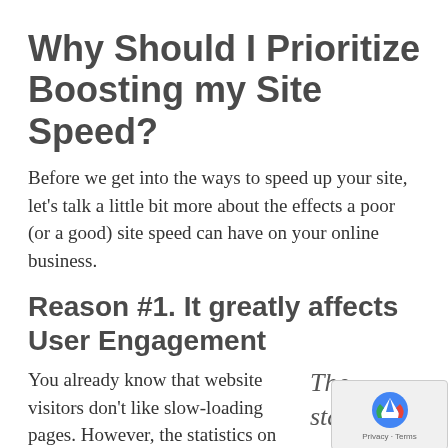Why Should I Prioritize Boosting my Site Speed?
Before we get into the ways to speed up your site, let’s talk a little bit more about the effects a poor (or a good) site speed can have on your online business.
Reason #1. It greatly affects User Engagement
You already know that website visitors don’t like slow-loading pages. However, the statistics on user engagement and site
The statistics